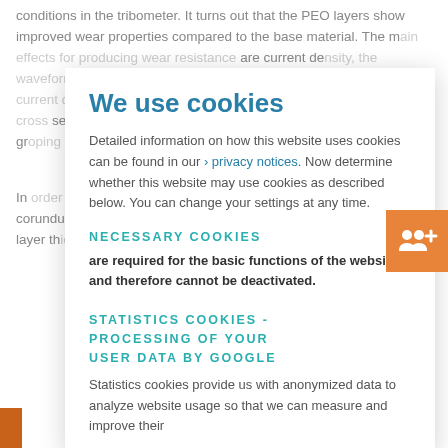conditions in the tribometer. It turns out that the PEO layers show improved wear properties compared to the base material. The main effects for producing wear resistance are current density, the waveform of the anodization current, and higher order (es-specially current duty/frequency). Further, the morphology found in tribometry cross section, se-characterized by morphology, and analyzed under groping condition.
In order to coating treatment by rutile and anatase), the formation of corundum) can be obtained in hardness and on the electrodes the layer thickness, the PEO treatment, the surface of CP-Ti at-tributed.
We use cookies
Detailed information on how this website uses cookies can be found in our › privacy notices. Now determine whether this website may use cookies as described below. You can change your settings at any time.
NECESSARY COOKIES
are required for the basic functions of the website and therefore cannot be deactivated.
STATISTICS COOKIES - PROCESSING OF YOUR USER DATA BY GOOGLE
Statistics cookies provide us with anonymized data to analyze website usage so that we can measure and improve their